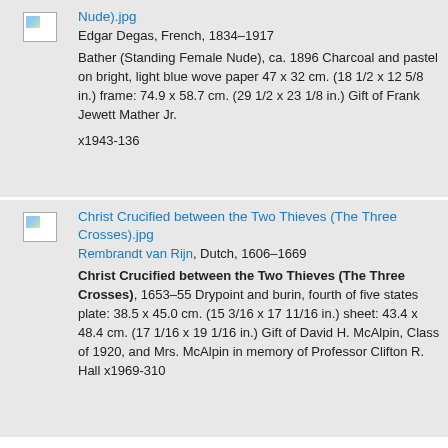Nude).jpg — Edgar Degas, French, 1834–1917 — Bather (Standing Female Nude), ca. 1896 Charcoal and pastel on bright, light blue wove paper 47 x 32 cm. (18 1/2 x 12 5/8 in.) frame: 74.9 x 58.7 cm. (29 1/2 x 23 1/8 in.) Gift of Frank Jewett Mather Jr. — x1943-136
Christ Crucified between the Two Thieves (The Three Crosses).jpg — Rembrandt van Rijn, Dutch, 1606–1669 — Christ Crucified between the Two Thieves (The Three Crosses), 1653–55 Drypoint and burin, fourth of five states plate: 38.5 x 45.0 cm. (15 3/16 x 17 11/16 in.) sheet: 43.4 x 48.4 cm. (17 1/16 x 19 1/16 in.) Gift of David H. McAlpin, Class of 1920, and Mrs. McAlpin in memory of Professor Clifton R. Hall x1969-310